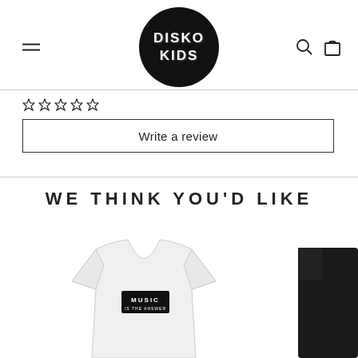[Figure (logo): Disko Kids logo: black circle with white text DISKO KIDS]
[Figure (other): Hamburger menu icon (two horizontal lines) on left, search icon and cart/bag icon on right]
[Figure (other): Star rating row (5 stars outlined) above a Write a review button]
Write a review
WE THINK YOU'D LIKE
[Figure (photo): White children's t-shirt with black rectangle patch reading MUSIC IS THE ANSWER]
[Figure (photo): Partial view of black clothing item on the right edge]